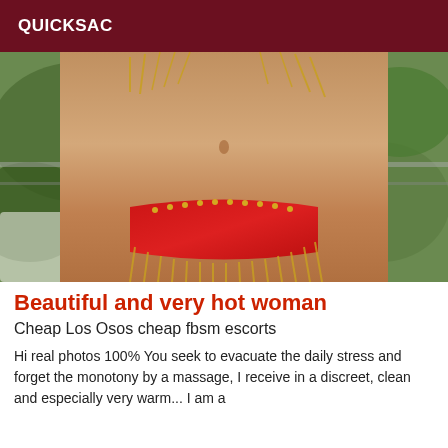QUICKSAC
[Figure (photo): Photo of a woman's torso wearing a red bikini bottom with gold chain fringe decoration, taken outdoors near a railing with green plants in background]
Beautiful and very hot woman
Cheap Los Osos cheap fbsm escorts
Hi real photos 100% You seek to evacuate the daily stress and forget the monotony by a massage, I receive in a discreet, clean and especially very warm... I am a